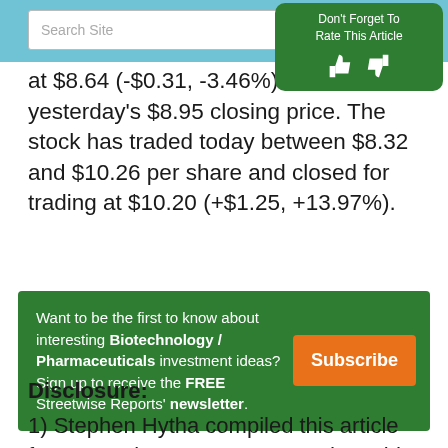[Figure (screenshot): Search site input bar with magnifying glass icon on teal/blue background header]
[Figure (screenshot): Green rounded box with text 'Don't Forget To Rate This Article' and thumbs up/thumbs down icons]
at $8.64 (-$0.31, -3.46%) from yesterday's $8.95 closing price. The stock has traded today between $8.32 and $10.26 per share and closed for trading at $10.20 (+$1.25, +13.97%).
Want to be the first to know about interesting Biotechnology / Pharmaceuticals investment ideas? Sign up to receive the FREE Streetwise Reports' newsletter.
Disclosure:
1) Stephen Hytha compiled this article for Streetwise Reports LLC and provides services